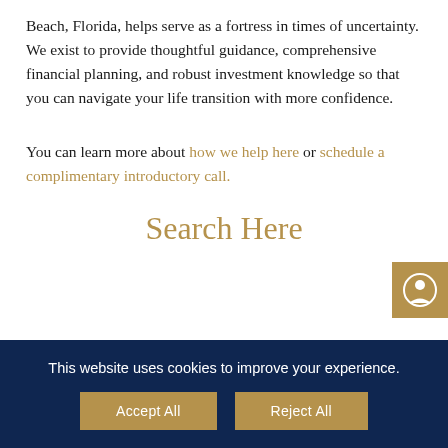Beach, Florida, helps serve as a fortress in times of uncertainty. We exist to provide thoughtful guidance, comprehensive financial planning, and robust investment knowledge so that you can navigate your life transition with more confidence.
You can learn more about how we help here or schedule a complimentary introductory call.
Search Here
This website uses cookies to improve your experience.